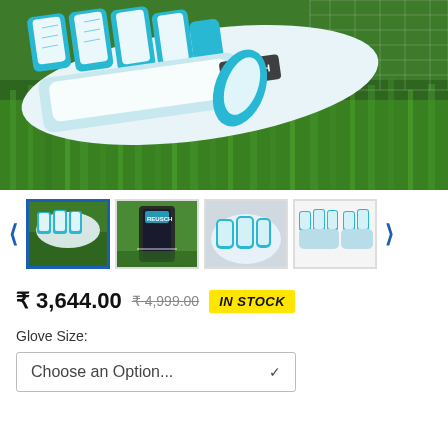[Figure (photo): Blue and white goalkeeper gloves lying on green grass near a football net, showing detailed texture and padding on the back of the gloves.]
[Figure (photo): Four thumbnail images of the goalkeeper gloves: 1) gloves on grass (selected, blue border), 2) glove packaging/bottle on grass, 3) close-up of gloves being worn, 4) flat lay of both gloves showing teal/blue color.]
₹ 3,644.00  ₹ 4,999.00  IN STOCK
Glove Size:
Choose an Option...